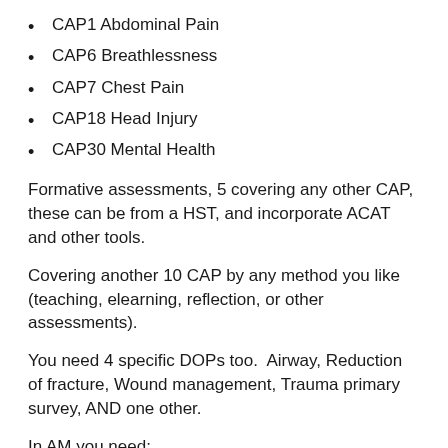CAP1 Abdominal Pain
CAP6 Breathlessness
CAP7 Chest Pain
CAP18 Head Injury
CAP30 Mental Health
Formative assessments, 5 covering any other CAP, these can be from a HST, and incorporate ACAT and other tools.
Covering another 10 CAP by any method you like (teaching, elearning, reflection, or other assessments).
You need 4 specific DOPs too.  Airway, Reduction of fracture, Wound management, Trauma primary survey, AND one other.
In AM you need:
2  CMPs from a consultant (some deaneries want formative, others summative so CHECK).